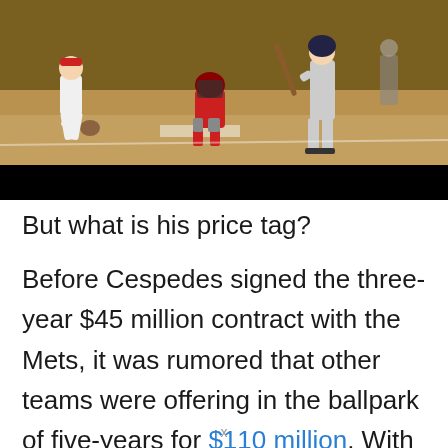[Figure (photo): Baseball game action photo showing a fielder, batter, and catcher at home plate on a dirt field, with a black bar overlaid at the bottom of the image.]
But what is his price tag?
Before Cespedes signed the three-year $45 million contract with the Mets, it was rumored that other teams were offering in the ballpark of five-years for $110 million. With the year he had